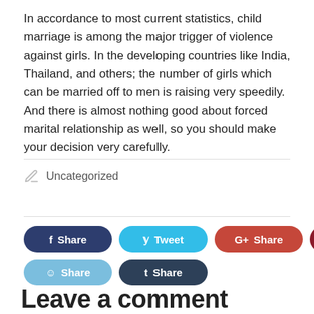In accordance to most current statistics, child marriage is among the major trigger of violence against girls. In the developing countries like India, Thailand, and others; the number of girls which can be married off to men is raising very speedily. And there is almost nothing good about forced marital relationship as well, so you should make your decision very carefully.
Uncategorized
[Figure (other): Social share buttons: Facebook Share, Tweet, Google+ Share, Pinterest Pin, LinkedIn Share, Reddit Share, Tumblr Share]
Leave a comment